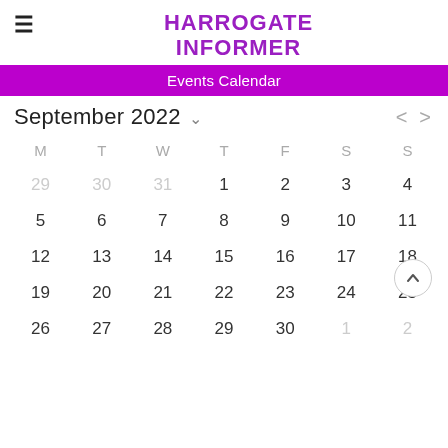HARROGATE INFORMER
Events Calendar
September 2022
| M | T | W | T | F | S | S |
| --- | --- | --- | --- | --- | --- | --- |
| 29 | 30 | 31 | 1 | 2 | 3 | 4 |
| 5 | 6 | 7 | 8 | 9 | 10 | 11 |
| 12 | 13 | 14 | 15 | 16 | 17 | 18 |
| 19 | 20 | 21 | 22 | 23 | 24 | 25 |
| 26 | 27 | 28 | 29 | 30 | 1 | 2 |